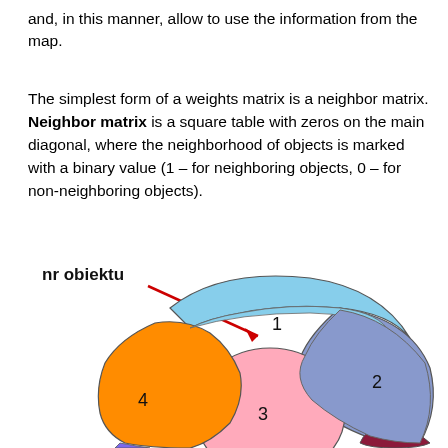and, in this manner, allow to use the information from the map.
The simplest form of a weights matrix is a neighbor matrix. Neighbor matrix is a square table with zeros on the main diagonal, where the neighborhood of objects is marked with a binary value (1 – for neighboring objects, 0 – for non-neighboring objects).
[Figure (illustration): A colorful map diagram showing regions labeled 1 (light blue, top), 2 (medium blue, right), 3 (pink, center), 4 (orange, left), with a red arrow pointing from the label 'nr obiektu' to region 1. Additional unlabeled regions visible at bottom edges (purple, dark red).]